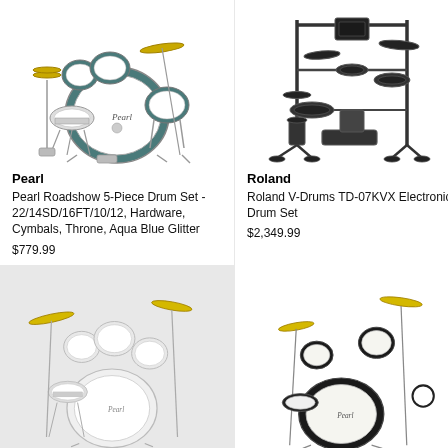[Figure (photo): Pearl acoustic drum set in Aqua Blue Glitter finish, 5-piece with cymbals and hardware]
Pearl
Pearl Roadshow 5-Piece Drum Set - 22/14SD/16FT/10/12, Hardware, Cymbals, Throne, Aqua Blue Glitter
$779.99
[Figure (photo): Roland V-Drums TD-07KVX electronic drum set, black frame with mesh pads]
Roland
Roland V-Drums TD-07KVX Electronic Drum Set
$2,349.99
[Figure (photo): Pearl acoustic drum set in white/chrome finish, 5-piece with cymbals]
[Figure (photo): Pearl acoustic drum set in black finish, compact 5-piece with cymbals]